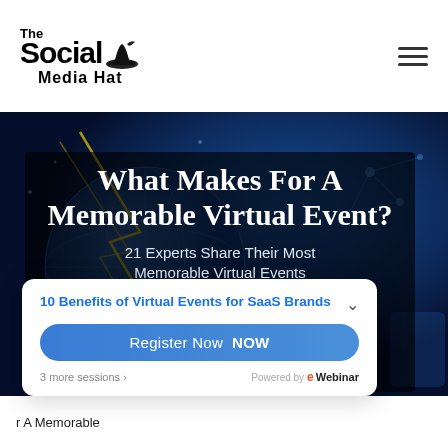[Figure (logo): The Social Media Hat logo — bold stylized text with hat icons]
[Figure (illustration): Hero banner with blue digital globe/network background, dark overlay, white bold serif title 'What Makes For A Memorable Virtual Event?' and subtitle '21 Experts Share Their Most Memorable Virtual Events']
What Makes For A Memorable Virtual Event?
21 Experts Share Their Most Memorable Virtual Events
10 Benefits of Virtual Events for SaaS Brands
Register Now  NOW
3 more sessions »
Powered by eWebinar
r A Memorable